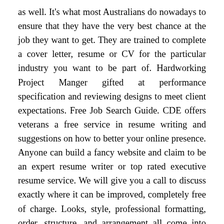as well. It's what most Australians do nowadays to ensure that they have the very best chance at the job they want to get. They are trained to complete a cover letter, resume or CV for the particular industry you want to be part of. Hardworking Project Manger gifted at performance specification and reviewing designs to meet client expectations. Free Job Search Guide. CDE offers veterans a free service in resume writing and suggestions on how to better your online presence. Anyone can build a fancy website and claim to be an expert resume writer or top rated executive resume service. We will give you a call to discuss exactly where it can be improved, completely free of charge. Looks, style, professional formatting, order, structure, and arrangement all come into play. Thanks again for all your assistance and getting me recognized. When faculty are supported as writers, they can also grow as teachers. Even so, it's always nice to find a service that has a hefty discount on a package, a new service they provide, or a discount if you return a few months or years later when you want to land a new job or change careers. Her level of expertise and customer service is outstanding. Best IT executive resume